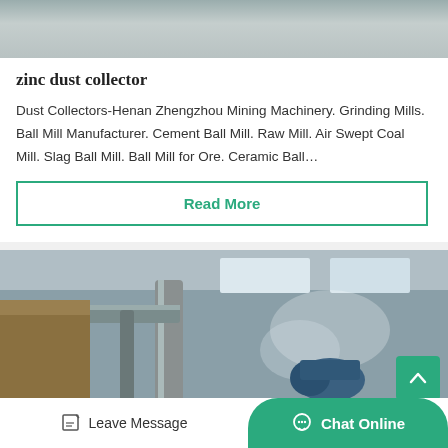[Figure (photo): Top portion of an industrial/machinery photo, showing textured grey surface]
zinc dust collector
Dust Collectors-Henan Zhengzhou Mining Machinery. Grinding Mills. Ball Mill Manufacturer. Cement Ball Mill. Raw Mill. Air Swept Coal Mill. Slag Ball Mill. Ball Mill for Ore. Ceramic Ball…
Read More
[Figure (photo): Industrial factory interior showing dust collection pipes and machinery with smoke/dust visible]
Leave Message
Chat Online